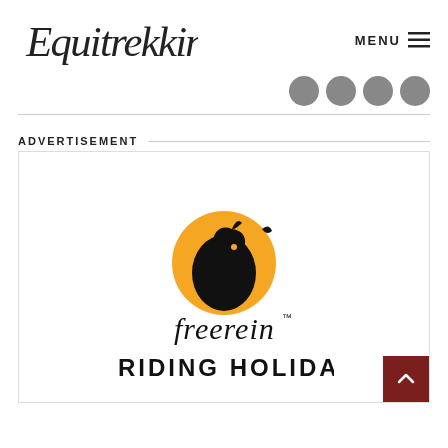Equitrekking — MENU
[Figure (logo): Four dark grey social media circles/icons in a row]
ADVERTISEMENT
[Figure (logo): Freerein Riding Holidays logo: orange circle with black horse silhouette, script text 'freerein' with TM mark, and bold sans-serif text 'RIDING HOLIDAYS']